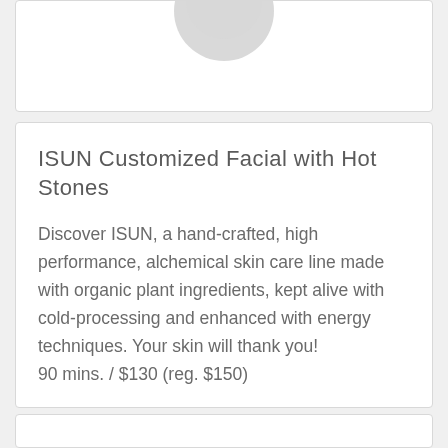[Figure (photo): Partial view of a circular product image or portrait at the top of a card, showing the lower portion of a round gray/white graphic element]
ISUN Customized Facial with Hot Stones
Discover ISUN, a hand-crafted, high performance, alchemical skin care line made with organic plant ingredients, kept alive with cold-processing and enhanced with energy techniques. Your skin will thank you!
90 mins. / $130 (reg. $150)